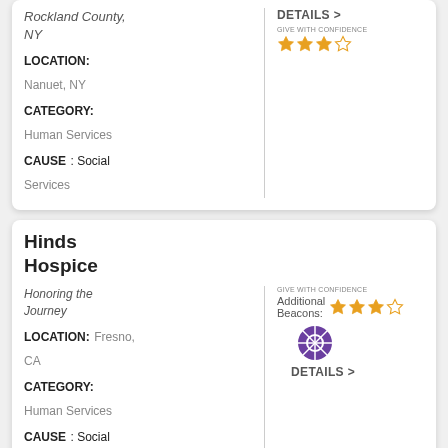Rockland County, NY
LOCATION: Nanuet, NY
CATEGORY: Human Services
CAUSE: Social Services
DETAILS > [3-star rating, Give With Confidence]
Hinds Hospice
Honoring the Journey
LOCATION: Fresno, CA
CATEGORY: Human Services
CAUSE: Social Services
Additional Beacons: [beacon icon] DETAILS > [3-star rating, Give With Confidence]